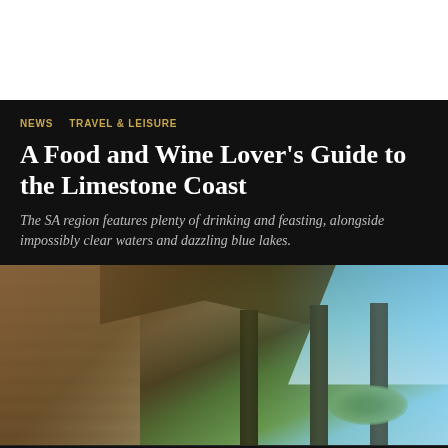NEWS  TRAVEL & LEISURE
A Food and Wine Lover's Guide to the Limestone Coast
The SA region features plenty of drinking and feasting, alongside impossibly clear waters and dazzling blue lakes.
[Figure (photo): Outdoor veranda of a limestone stone building with dark wooden roof beams and pillars, blue sky visible in background with green scrubland]
Home  Featured  Nearby  Popular  Latest